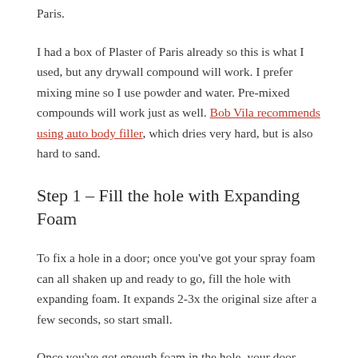Paris.
I had a box of Plaster of Paris already so this is what I used, but any drywall compound will work. I prefer mixing mine so I use powder and water. Pre-mixed compounds will work just as well. Bob Vila recommends using auto body filler, which dries very hard, but is also hard to sand.
Step 1 – Fill the hole with Expanding Foam
To fix a hole in a door; once you've got your spray foam can all shaken up and ready to go, fill the hole with expanding foam. It expands 2-3x the original size after a few seconds, so start small.
Once you've got enough foam in the hole, your door should look something like this.